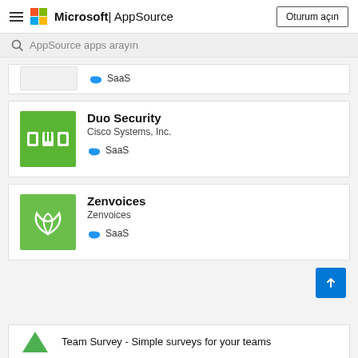Microsoft | AppSource — Oturum açın
AppSource apps arayın
[Figure (screenshot): Partial app listing card showing SaaS badge]
[Figure (screenshot): Duo Security app card — Cisco Systems, Inc. — SaaS]
[Figure (screenshot): Zenvoices app card — Zenvoices — SaaS]
Team Survey - Simple surveys for your teams